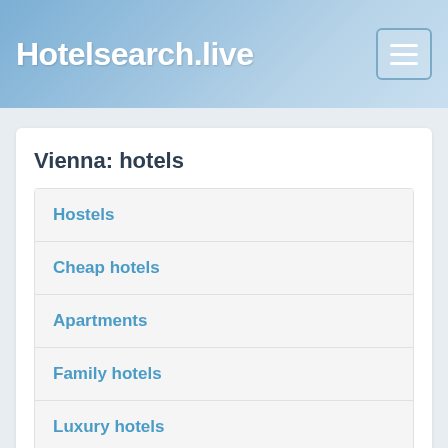Hotelsearch.live
Vienna: hotels
Hostels
Cheap hotels
Apartments
Family hotels
Luxury hotels
Other hotels